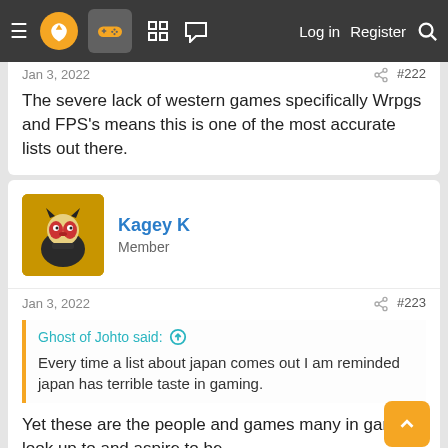Navigation bar with menu, logo, gamepad icon, grid icon, chat icon, Log in, Register, Search
Jan 3, 2022  #222
The severe lack of western games specifically Wrpgs and FPS's means this is one of the most accurate lists out there.
[Figure (photo): User avatar for Kagey K — stylized character illustration on yellow background]
Kagey K
Member
Jan 3, 2022  #223
Ghost of Johto said: ↑
Every time a list about japan comes out I am reminded japan has terrible taste in gaming.
Yet these are the people and games many in gaming look up to and aspire to be.
Fucking gross